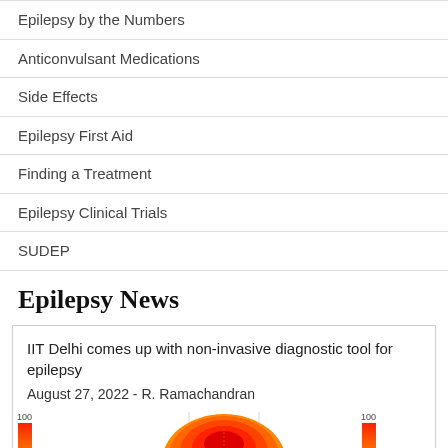Epilepsy by the Numbers
Anticonvulsant Medications
Side Effects
Epilepsy First Aid
Finding a Treatment
Epilepsy Clinical Trials
SUDEP
Epilepsy News
IIT Delhi comes up with non-invasive diagnostic tool for epilepsy
August 27, 2022 - R. Ramachandran
[Figure (photo): Heat map brain scan images showing diagnostic visualization for epilepsy, with color bars ranging from blue/purple at low values through red at high values (30–100 scale), and a central orange/red brain scan image.]